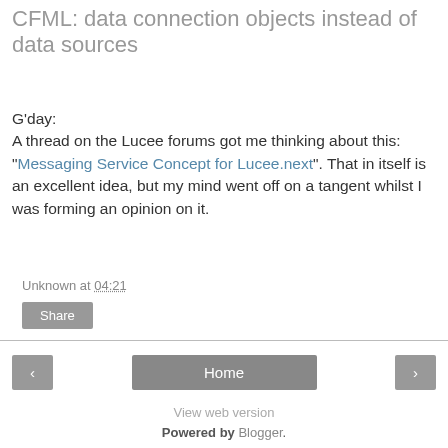CFML: data connection objects instead of data sources
G'day:
A thread on the Lucee forums got me thinking about this: "Messaging Service Concept for Lucee.next". That in itself is an excellent idea, but my mind went off on a tangent whilst I was forming an opinion on it.
Unknown at 04:21
Share
Home
View web version
Powered by Blogger.